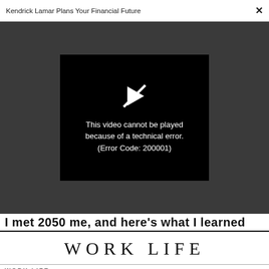Kendrick Lamar Plans Your Financial Future  ×
[Figure (screenshot): Video player showing error: 'This video cannot be played because of a technical error. (Error Code: 200001)' on a black background within a dark gray video area. A strikethrough play button icon appears above the error text.]
I met 2050 me, and here's what I learned
WORK LIFE
WORK LIFE